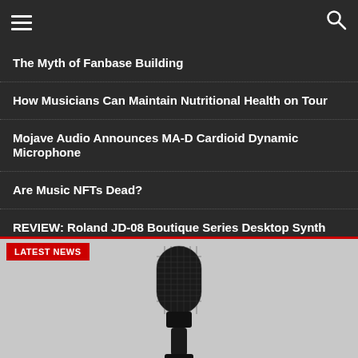Navigation bar with hamburger menu and search icon
The Myth of Fanbase Building
How Musicians Can Maintain Nutritional Health on Tour
Mojave Audio Announces MA-D Cardioid Dynamic Microphone
Are Music NFTs Dead?
REVIEW: Roland JD-08 Boutique Series Desktop Synth Module
REVIEW: Roland JX-08 Boutique Series Desktop Synth Module
LATEST NEWS
[Figure (photo): Close-up photo of a black condenser microphone on a light gray background]